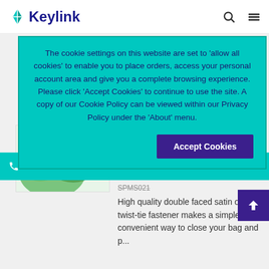[Figure (logo): Keylink logo with teal/green diamond icon and dark blue text]
The cookie settings on this website are set to ‘allow all cookies’ to enable you to place orders, access your personal account area and give you a complete browsing experience. Please click ‘Accept Cookies’ to continue to use the site. A copy of our Cookie Policy can be viewed within our Privacy Policy under the ‘About’ menu.
Accept Cookies
0114 245 5400
Ties, Emerald
Ribbon width 25mm; Tie 102mm (Bow
SPMS021
High quality double faced satin on a twist-tie fastener makes a simple and convenient way to close your bag and p...